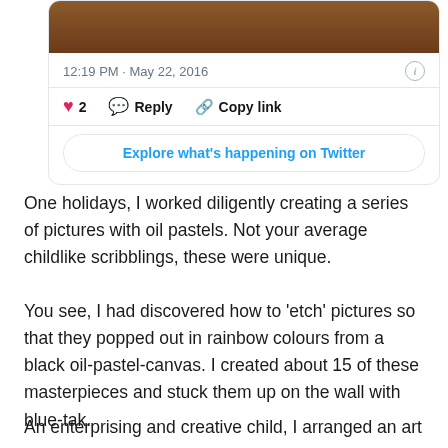[Figure (screenshot): Twitter/X tweet card screenshot showing a photo of a dark surface, timestamp '12:19 PM · May 22, 2016', an info icon, action buttons (heart with count 2, Reply, Copy link), and an 'Explore what's happening on Twitter' button]
One holidays, I worked diligently creating a series of pictures with oil pastels. Not your average childlike scribblings, these were unique.
You see, I had discovered how to 'etch' pictures so that they popped out in rainbow colours from a black oil-pastel-canvas. I created about 15 of these masterpieces and stuck them up on the wall with blue-tak.
An enterprising and creative child, I arranged an art